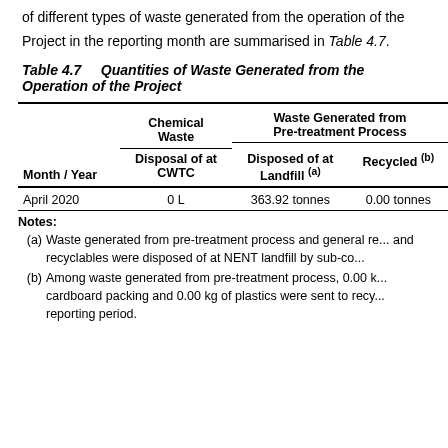of different types of waste generated from the operation of the Project in the reporting month are summarised in Table 4.7.
Table 4.7   Quantities of Waste Generated from the Operation of the Project
| Month / Year | Chemical Waste Disposal of at CWTC | Waste Generated from Pre-treatment Process Disposed of at Landfill (a) | Waste Generated from Pre-treatment Process Recycled (b) |
| --- | --- | --- | --- |
| April 2020 | 0 L | 363.92 tonnes | 0.00 tonnes |
Notes:
(a) Waste generated from pre-treatment process and general re... and recyclables were disposed of at NENT landfill by sub-co...
(b) Among waste generated from pre-treatment process, 0.00 k... cardboard packing and 0.00 kg of plastics were sent to recy... reporting period.